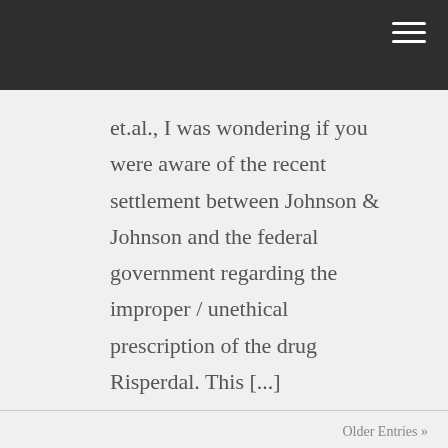et.al., I was wondering if you were aware of the recent settlement between Johnson & Johnson and the federal government regarding the improper / unethical prescription of the drug Risperdal. This [...]
Older Entries »